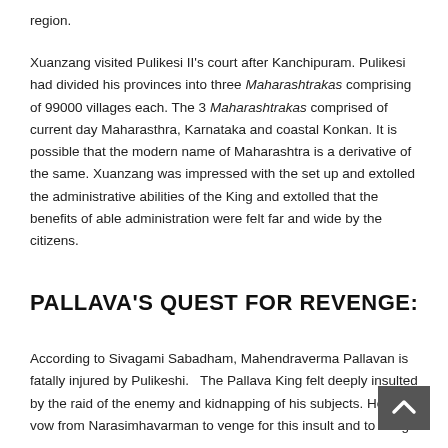region.
Xuanzang visited Pulikesi II's court after Kanchipuram. Pulikesi had divided his provinces into three Maharashtrakas comprising of 99000 villages each. The 3 Maharashtrakas comprised of current day Maharasthra, Karnataka and coastal Konkan. It is possible that the modern name of Maharashtra is a derivative of the same. Xuanzang was impressed with the set up and extolled the administrative abilities of the King and extolled that the benefits of able administration were felt far and wide by the citizens.
PALLAVA'S QUEST FOR REVENGE:
According to Sivagami Sabadham, Mahendraverma Pallavan is fatally injured by Pulikeshi.   The Pallava King felt deeply insulted by the raid of the enemy and kidnapping of his subjects. He ta... vow from Narasimhavarman to venge for this insult and to bring